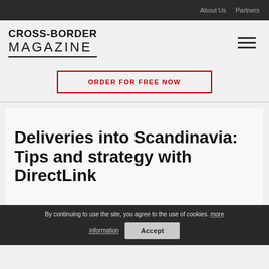About Us   Partners
[Figure (logo): Cross-Border Magazine logo with bold uppercase text]
ORDER FOR FREE NOW
Deliveries into Scandinavia: Tips and strategy with DirectLink